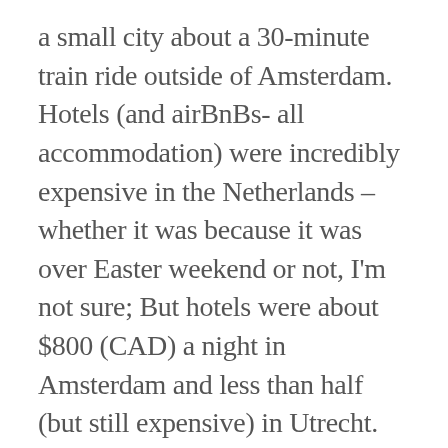a small city about a 30-minute train ride outside of Amsterdam. Hotels (and airBnBs- all accommodation) were incredibly expensive in the Netherlands – whether it was because it was over Easter weekend or not, I'm not sure; But hotels were about $800 (CAD) a night in Amsterdam and less than half (but still expensive) in Utrecht. So it was obviously worth staying in Utrecht. Utrecht isn't a particularly notable city, but it is a nice Dutch city. The inner main town has the quintessential dutch-style buildings, there are bicyclists everywhere,